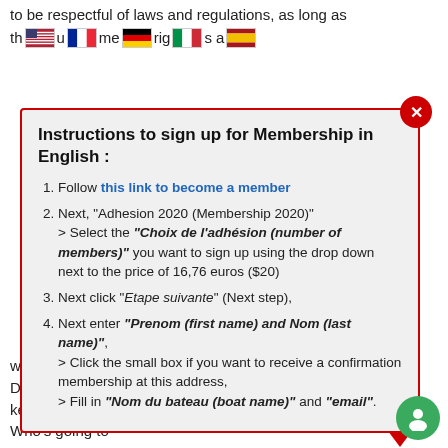to be respectful of laws and regulations, as long as the [flags] me[flag]rig[flag]s a[flag]
Instructions to sign up for Membership in English :
Follow this link to become a member
Next, "Adhesion 2020 (Membership 2020)" > Select the "Choix de l'adhésion (number of members)" you want to sign up using the drop down next to the price of 16,76 euros ($20)
Next click "Etape suivante" (Next step),
Next enter "Prenom (first name) and Nom (last name)", > Click the small box if you want to receive a confirmation membership at this address, > Fill in "Nom du bateau (boat name)" and "email".
who will finance the installation of the bodies Dead? Who's going to maintain them? Who's going to keep an eye on them? Who will finance their repairs? Who's going to